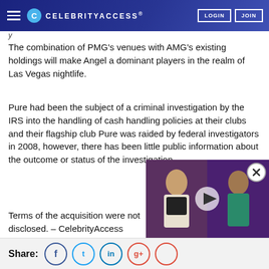CELEBRITYACCESS. LOGIN JOIN
The combination of PMG's venues with AMG's existing holdings will make Angel a dominant players in the realm of Las Vegas nightlife.
Pure had been the subject of a criminal investigation by the IRS into the handling of cash handling policies at their clubs and their flagship club Pure was raided by federal investigators in 2008, however, there has been little public information about the outcome or status of the investigation.
Terms of the acquisition were not disclosed. – CelebrityAccess Staff writers
[Figure (screenshot): Video overlay showing two celebrity figures with a play button, close (X) button in the corner]
Share: